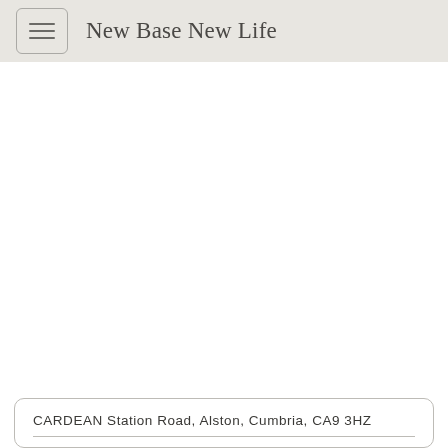New Base New Life
CARDEAN Station Road, Alston, Cumbria, CA9 3HZ